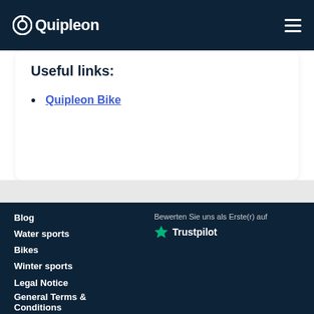Quipleon
Useful links:
Quipleon Bike
Blog
Water sports
Bikes
Winter sports
Bewerten Sie uns als Erste(r) auf Trustpilot
Legal Notice
General Terms & Conditions